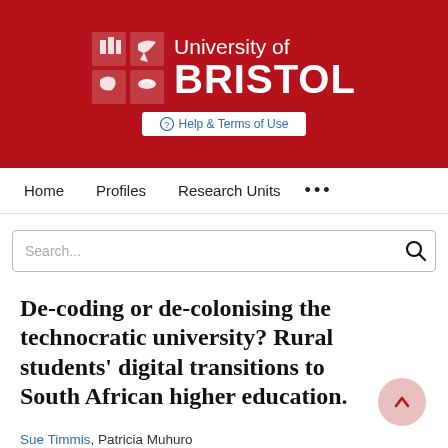[Figure (logo): University of Bristol logo with red crest on dark red banner background]
Help & Terms of Use
Home   Profiles   Research Units   ...
Search...
De-coding or de-colonising the technocratic university? Rural students’ digital transitions to South African higher education.
Sue Timmis, Patricia Muhuro